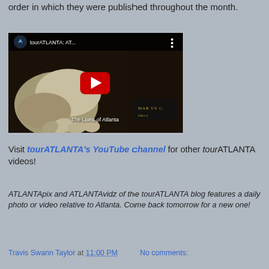order in which they were published throughout the month.
[Figure (screenshot): YouTube video embed showing 'tourATLANTA: AT...' titled 'The Lions of Atlanta' with a red play button over an image of stone lion paws/claws]
Visit tourATLANTA's YouTube channel for other tourATLANTA videos!
ATLANTApix and ATLANTAvidz of the tourATLANTA blog features a daily photo or video relative to Atlanta. Come back tomorrow for a new one!
Travis Swann Taylor at 11:00 PM    No comments: